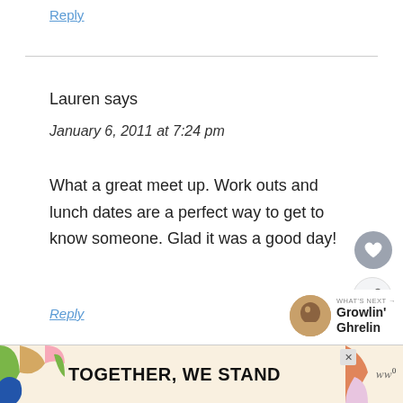Reply
Lauren says
January 6, 2011 at 7:24 pm
What a great meet up. Work outs and lunch dates are a perfect way to get to know someone. Glad it was a good day!
Reply
WHAT'S NEXT → Growlin' Ghrelin
[Figure (screenshot): Advertisement banner with colorful shapes and text 'TOGETHER, WE STAND']